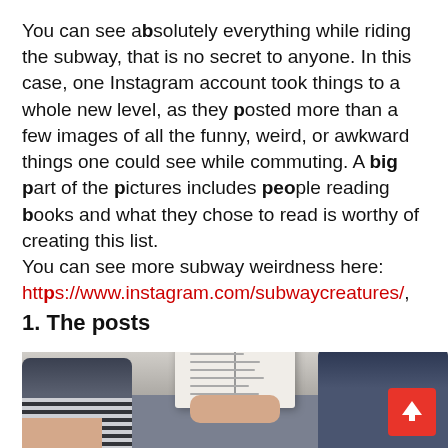You can see absolutely everything while riding the subway, that is no secret to anyone. In this case, one Instagram account took things to a whole new level, as they posted more than a few images of all the funny, weird, or awkward things one could see while commuting. A big part of the pictures includes people reading books and what they chose to read is worthy of creating this list.
You can see more subway weirdness here:
https://www.instagram.com/subwaycreatures/,
1. The posts
[Figure (photo): A photo taken on a subway train showing a person reading a book held up in front of them. The book is white/light colored. Other passengers are visible in the background. A red back-to-top button is visible in the bottom right corner.]